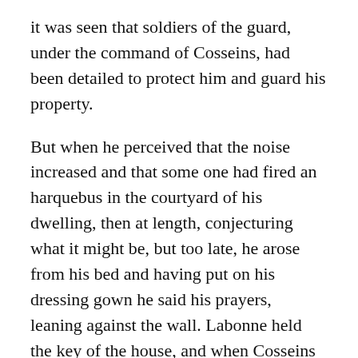it was seen that soldiers of the guard, under the command of Cosseins, had been detailed to protect him and guard his property.
But when he perceived that the noise increased and that some one had fired an harquebus in the courtyard of his dwelling, then at length, conjecturing what it might be, but too late, he arose from his bed and having put on his dressing gown he said his prayers, leaning against the wall. Labonne held the key of the house, and when Cosseins commanded him, in the King's name, to open the door he obeyed at once without fear and apprehending nothing. But scarcely had Cosseins entered when Labonne, who stood in his way, was killed with a dagger thrust. The Swiss who were in